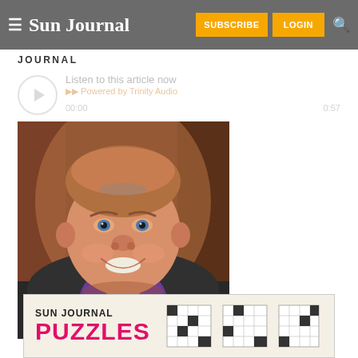Sun Journal — SUBSCRIBE LOGIN
JOURNAL
[Figure (other): Audio player widget: Listen to this article now, Powered by Trinity Audio, time 00:00 / 0:57]
[Figure (photo): Headshot photograph of a smiling man wearing a purple shirt and dark blazer, with brown wooden background]
[Figure (other): Advertisement banner: SUN JOURNAL PUZZLES with crossword puzzle grid images]